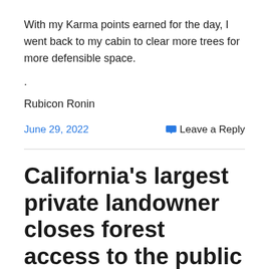With my Karma points earned for the day, I went back to my cabin to clear more trees for more defensible space.
.
Rubicon Ronin
June 29, 2022
Leave a Reply
California’s largest private landowner closes forest access to the public